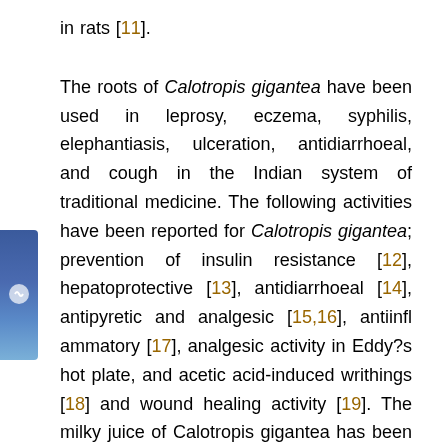in rats [11].
The roots of Calotropis gigantea have been used in leprosy, eczema, syphilis, elephantiasis, ulceration, antidiarrhoeal, and cough in the Indian system of traditional medicine. The following activities have been reported for Calotropis gigantea; prevention of insulin resistance [12], hepatoprotective [13], antidiarrhoeal [14], antipyretic and analgesic [15,16], antiinflammatory [17], analgesic activity in Eddy?s hot plate, and acetic acid-induced writhings [18] and wound healing activity [19]. The milky juice of Calotropis gigantea has been reported as a violent purgative and gastrointestinal irritant and used for inducing abortion [20]. The alcohol extract of the